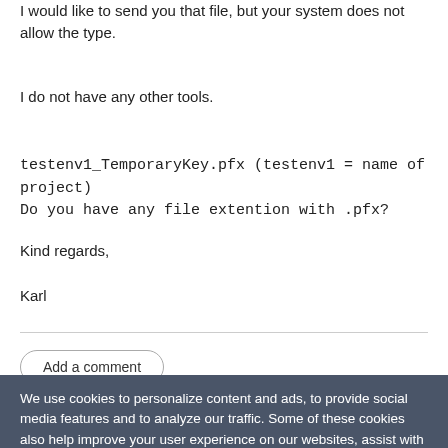I would like to send you that file, but your system does not allow the type.
I do not have any other tools.
testenv1_TemporaryKey.pfx (testenv1 = name of project)
Do you have any file extention with .pfx?
Kind regards,
Karl
Add a comment
We use cookies to personalize content and ads, to provide social media features and to analyze our traffic. Some of these cookies also help improve your user experience on our websites, assist with navigation and your ability to provide feedback, and assist with our promotional and marketing efforts. Please read our Cookie Policy for a